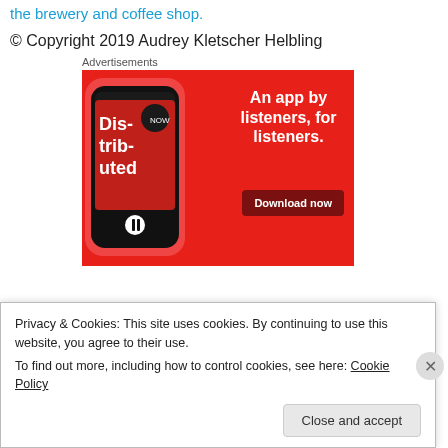the brewery and coffee shop.
© Copyright 2019 Audrey Kletscher Helbling
Advertisements
[Figure (illustration): Advertisement banner showing a smartphone displaying a podcast app called 'Distributed' on a red background with text 'An app by listeners, for listeners.' and a 'Download now' button.]
Privacy & Cookies: This site uses cookies. By continuing to use this website, you agree to their use.
To find out more, including how to control cookies, see here: Cookie Policy
Close and accept